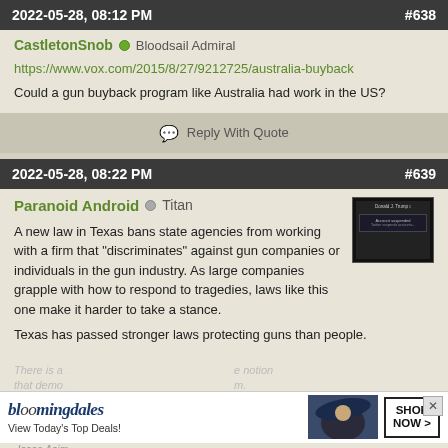2022-05-28, 08:12 PM  #638
CastletonSnob  Bloodsail Admiral
https://www.vox.com/2015/8/27/9212725/australia-buyback
Could a gun buyback program like Australia had work in the US?
Reply With Quote
2022-05-28, 08:22 PM  #639
Paranoid Android  Titan
A new law in Texas bans state agencies from working with a firm that "discriminates" against gun companies or individuals in the gun industry. As large companies grapple with how to respond to tragedies, laws like this one make it harder to take a stance.

Texas has passed stronger laws protecting guns than people.
There is a ... notion that demo...
-Isaac Asim...
[Figure (screenshot): Screenshot of a suspended Twitter/social media account for Donald J. Trump]
bloomingdales View Today's Top Deals! SHOP NOW >